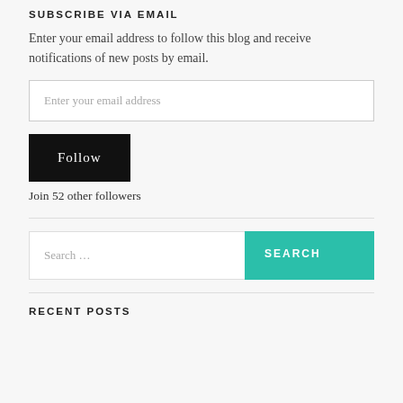SUBSCRIBE VIA EMAIL
Enter your email address to follow this blog and receive notifications of new posts by email.
Enter your email address
Follow
Join 52 other followers
Search …
SEARCH
RECENT POSTS